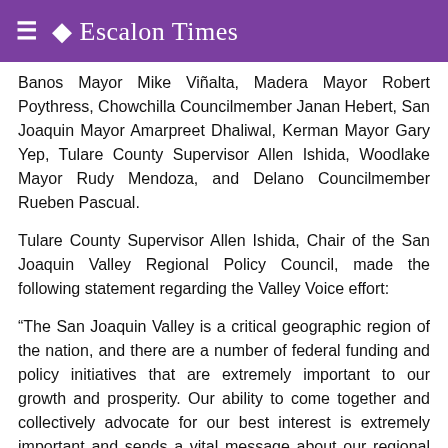Escalon Times
Banos Mayor Mike Viñalta, Madera Mayor Robert Poythress, Chowchilla Councilmember Janan Hebert, San Joaquin Mayor Amarpreet Dhaliwal, Kerman Mayor Gary Yep, Tulare County Supervisor Allen Ishida, Woodlake Mayor Rudy Mendoza, and Delano Councilmember Rueben Pascual.
Tulare County Supervisor Allen Ishida, Chair of the San Joaquin Valley Regional Policy Council, made the following statement regarding the Valley Voice effort:
“The San Joaquin Valley is a critical geographic region of the nation, and there are a number of federal funding and policy initiatives that are extremely important to our growth and prosperity. Our ability to come together and collectively advocate for our best interest is extremely important and sends a vital message about our regional collaboration.”
...